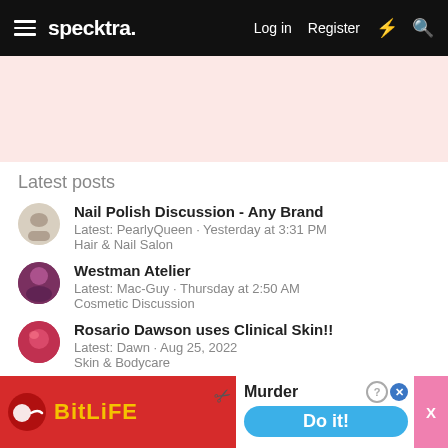specktra. Log in  Register
[Figure (other): Pink banner advertisement area]
Latest posts
Nail Polish Discussion - Any Brand
Latest: PearlyQueen · Yesterday at 3:31 PM
Hair & Nail Salon
Westman Atelier
Latest: Mac-Guy · Thursday at 2:50 AM
Cosmetic Discussion
Rosario Dawson uses Clinical Skin!!
Latest: Dawn · Aug 25, 2022
Skin & Bodycare
Say HELLO to Thicker, Fuller, and Healthier Hair with TAYLO…
Latest: …
Hair…
[Figure (other): BitLife advertisement overlay at bottom of page showing red background with yellow BitLife text and Murder/Do it! call to action]